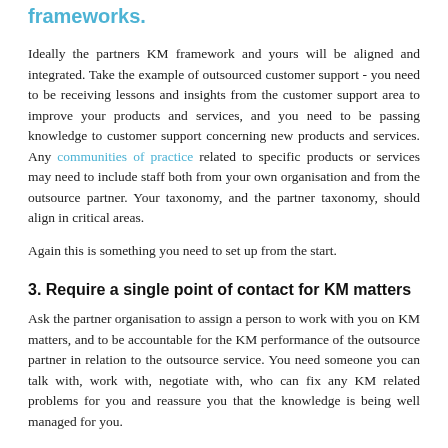frameworks.
Ideally the partners KM framework and yours will be aligned and integrated. Take the example of outsourced customer support - you need to be receiving lessons and insights from the customer support area to improve your products and services, and you need to be passing knowledge to customer support concerning new products and services. Any communities of practice related to specific products or services may need to include staff both from your own organisation and from the outsource partner. Your taxonomy, and the partner taxonomy, should align in critical areas.
Again this is something you need to set up from the start.
3. Require a single point of contact for KM matters
Ask the partner organisation to assign a person to work with you on KM matters, and to be accountable for the KM performance of the outsource partner in relation to the outsource service. You need someone you can talk with, work with, negotiate with, who can fix any KM related problems for you and reassure you that the knowledge is being well managed for you.